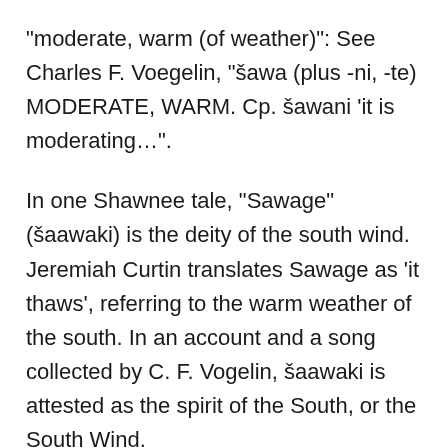"moderate, warm (of weather)": See Charles F. Voegelin, "šawa (plus -ni, -te) MODERATE, WARM. Cp. šawani 'it is moderating…".
In one Shawnee tale, "Sawage" (šaawaki) is the deity of the south wind. Jeremiah Curtin translates Sawage as 'it thaws', referring to the warm weather of the south. In an account and a song collected by C. F. Vogelin, šaawaki is attested as the spirit of the South, or the South Wind.
Europeans reported encountering the Shawnee over a wide geographic area. One of